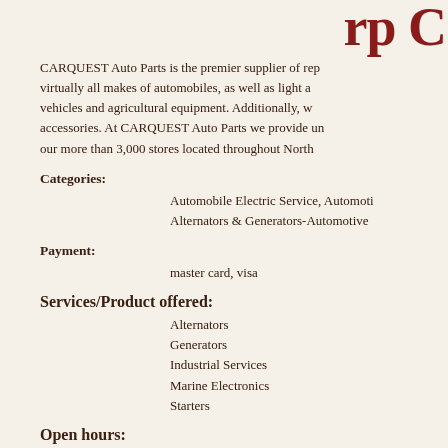CARQUEST Auto Parts is the premier supplier of replacement parts for virtually all makes of automobiles, as well as light and heavy duty vehicles and agricultural equipment. Additionally, we carry tools and accessories. At CARQUEST Auto Parts we provide unsurpassed service at our more than 3,000 stores located throughout North America.
Categories:
Automobile Electric Service, Automotive, Alternators & Generators-Automotive
Payment:
master card, visa
Services/Product offered:
Alternators
Generators
Industrial Services
Marine Electronics
Starters
Open hours:
Mon - Fri 7:00 am - 5:00 pm
Brands: